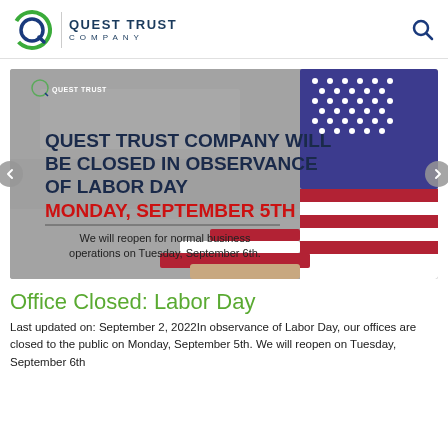Quest Trust Company
[Figure (infographic): Quest Trust Company Labor Day closure announcement image with American flag background. Bold text reads: QUEST TRUST COMPANY WILL BE CLOSED IN OBSERVANCE OF LABOR DAY MONDAY, SEPTEMBER 5TH. Subtitle: We will reopen for normal business operations on Tuesday, September 6th.]
Office Closed: Labor Day
Last updated on: September 2, 2022In observance of Labor Day, our offices are closed to the public on Monday, September 5th. We will reopen on Tuesday, September 6th